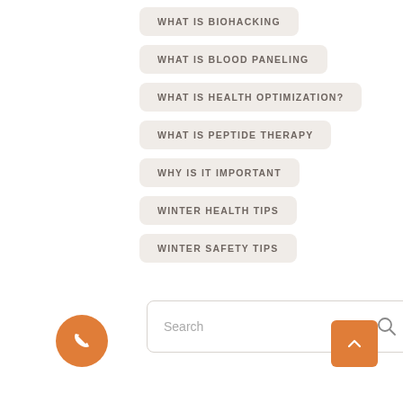WHAT IS BIOHACKING
WHAT IS BLOOD PANELING
WHAT IS HEALTH OPTIMIZATION?
WHAT IS PEPTIDE THERAPY
WHY IS IT IMPORTANT
WINTER HEALTH TIPS
WINTER SAFETY TIPS
Search